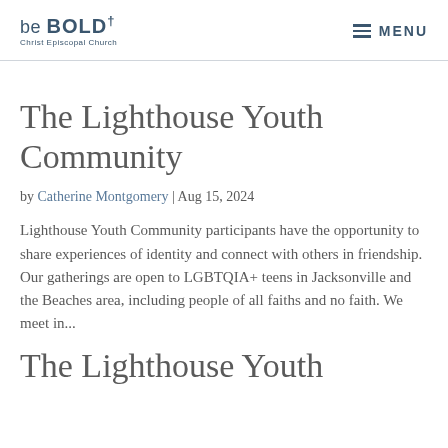be BOLD† Christ Episcopal Church | MENU
The Lighthouse Youth Community
by Catherine Montgomery | Aug 15, 2024
Lighthouse Youth Community participants have the opportunity to share experiences of identity and connect with others in friendship. Our gatherings are open to LGBTQIA+ teens in Jacksonville and the Beaches area, including people of all faiths and no faith. We meet in...
The Lighthouse Youth